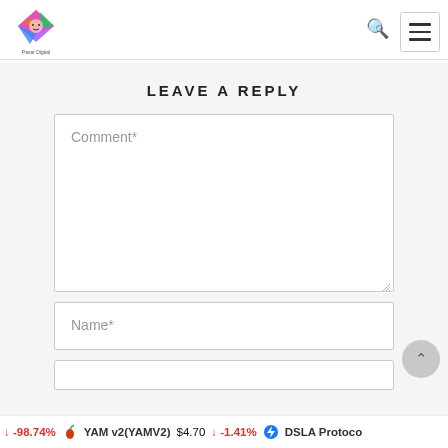Pasar Digital - header with logo, search icon, and menu icon
LEAVE A REPLY
Comment*
Name*
↓ -98.74%   YAM v2(YAMV2)  $4.70  ↓ -1.41%   DSLA Protocol